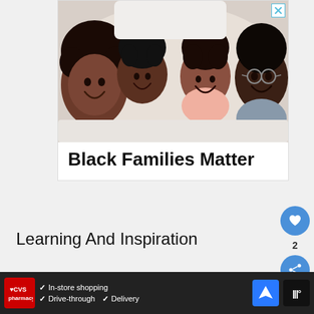[Figure (photo): Advertisement showing a family of four (mother, two daughters, father) lying down smiling, heads together. White background. Close X button top right.]
Black Families Matter
Learning And Inspiration
In Beijing, UFC Lightweight Fighter Zhang Tiequan
[Figure (other): Bottom banner advertisement: CVS Pharmacy logo, checkmarks for In-store shopping, Drive-through, Delivery, navigation icon, weather icon]